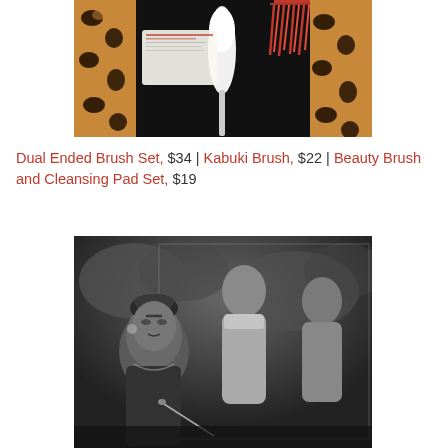[Figure (photo): Top portion of a product photo showing makeup brushes on a dark background with leopard print fabric on the sides and red tassels in the upper right corner]
Dual Ended Brush Set, $34 | Kabuki Brush, $22 | Beauty Brush and Cleansing Pad Set, $19
[Figure (photo): Black and white photograph of Frida Kahlo standing in front of her painting 'The Two Fridas', showing her in the foreground with the large canvas visible behind her]